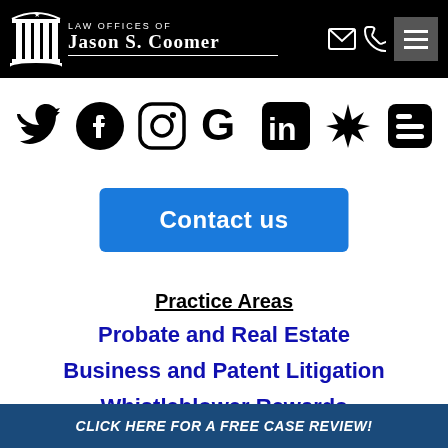Law Offices of Jason S. Coomer
[Figure (other): Social media icons row: Twitter, Facebook, Instagram, Google, LinkedIn, Yelp, Blogger]
Contact us
Practice Areas
Probate and Real Estate
Business and Patent Litigation
Whistleblower Rewards
Defective Products
CLICK HERE FOR A FREE CASE REVIEW!